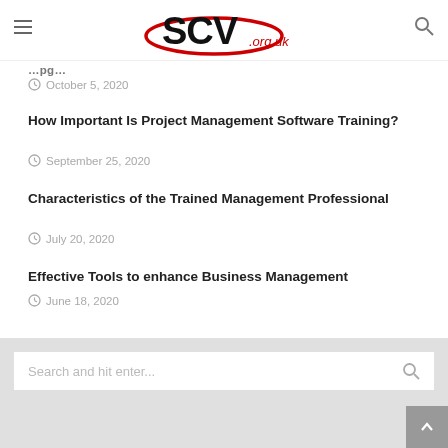SCV .org.uk
October 5, 2020
How Important Is Project Management Software Training?
September 25, 2020
Characteristics of the Trained Management Professional
July 20, 2020
Effective Tools to enhance Business Management
June 18, 2020
Search and hit enter...